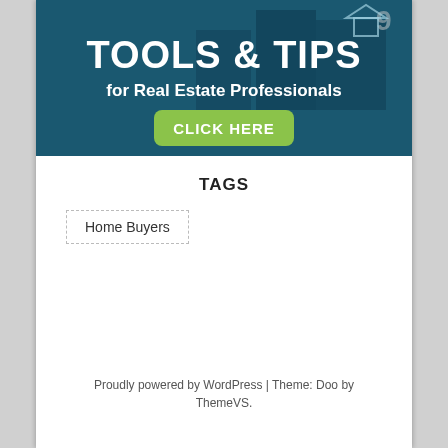[Figure (illustration): Promotional banner image showing two people in professional attire with text overlaid: 'TOOLS & TIPS for Real Estate Professionals' and a green 'CLICK HERE' button. Background has dark teal/blue tones.]
TAGS
Home Buyers
Proudly powered by WordPress | Theme: Doo by ThemeVS.